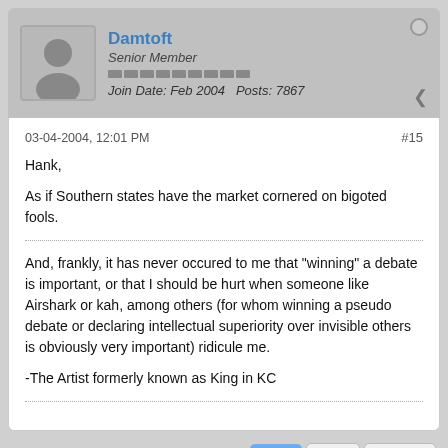Damtoft
Senior Member
Join Date: Feb 2004   Posts: 7867
03-04-2004, 12:01 PM
#15
Hank,

As if Southern states have the market cornered on bigoted fools.

And, frankly, it has never occured to me that "winning" a debate is important, or that I should be hurt when someone like Airshark or kah, among others (for whom winning a pseudo debate or declaring intellectual superiority over invisible others is obviously very important) ridicule me.

-The Artist formerly known as King in KC